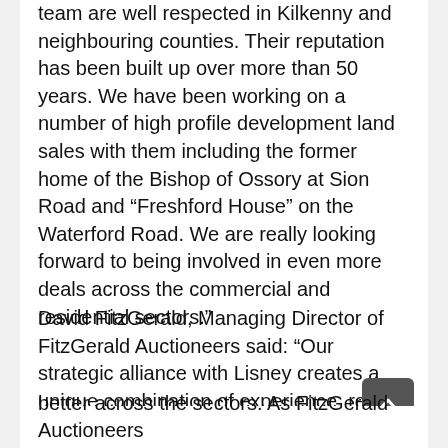team are well respected in Kilkenny and neighbouring counties. Their reputation has been built up over more than 50 years. We have been working on a number of high profile development land sales with them including the former home of the Bishop of Ossory at Sion Road and “Freshford House” on the Waterford Road. We are really looking forward to being involved in even more deals across the commercial and residential sectors.”
David FitzGerald, Managing Director of FitzGerald Auctioneers said: “Our strategic alliance with Lisney creates a unique combination of experience, reach and marketing expertise for our clients. Unlike many of the auctioneering franchise operators, this new alliance is a genuine partnership. The mix of the two firms’ energy, ideas, best practice and resources will enable us to service our clients better across the sectors. As FitzGerald Auctioneers